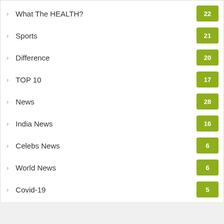What The HEALTH? 22
Sports 21
Difference 20
TOP 10 17
News 28
India News 16
Celebs News 6
World News 6
Covid-19 5
Can not fetch the images!